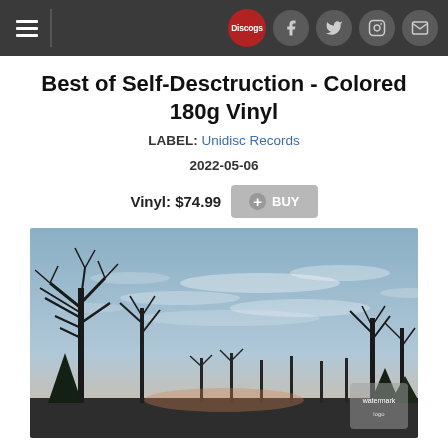Navigation bar with hamburger menu and social icons (Discogs, Facebook, Twitter, Instagram, Mail)
Best of Self-Desctruction - Colored 180g Vinyl
LABEL: Unidisc Records
2022-05-06
Vinyl: $74.99  + BUY
[Figure (photo): Outdoor winter landscape photo with bare trees silhouetted against a pale blue sky with wispy clouds, taken at dusk with pinkish-orange light near the horizon. A small watermark/logo visible in lower right corner.]